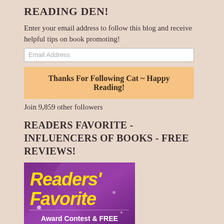READING DEN!
Enter your email address to follow this blog and receive helpful tips on book promoting!
Thanks For Following Cat ~ Happy Reading!
Join 9,859 other followers
READERS FAVORITE - INFLUENCERS OF BOOKS - FREE REVIEWS!
[Figure (illustration): Readers' Favorite promotional banner with purple/violet background, yellow italic bold text reading "Readers' Favorite" and white text reading "Award Contest & FREE Reviews for Authors!" and partial text "Award contestants" at bottom]